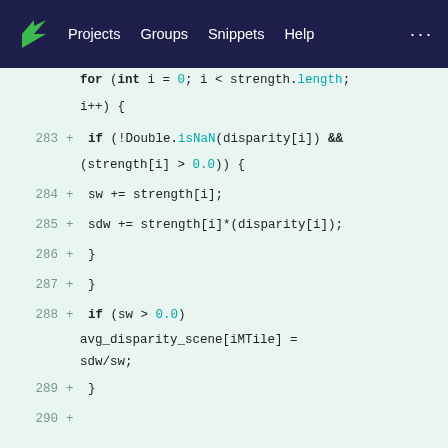Projects  Groups  Snippets  Help
Code diff view showing lines 283-290 of a Java/code file with a for loop iterating over strength array, computing weighted disparity sum.